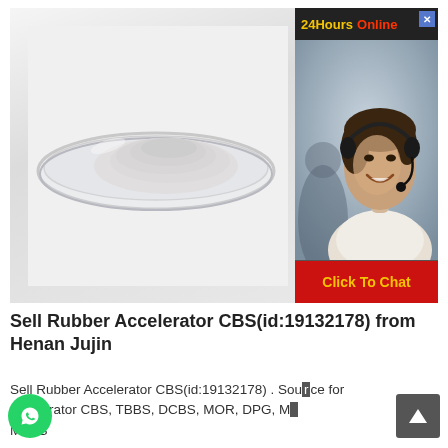[Figure (photo): Product image showing white powder in a clear glass petri dish on white background, with an overlaid chat widget showing a customer service representative wearing a headset. The chat widget has a dark header with '24Hours' in yellow and 'Online' in red, and a red 'Click To Chat' button at the bottom.]
Sell Rubber Accelerator CBS(id:19132178) from Henan Jujin
Sell Rubber Accelerator CBS(id:19132178) . Source for accelerator CBS, TBBS, DCBS, MOR, DPG, M, MBTS